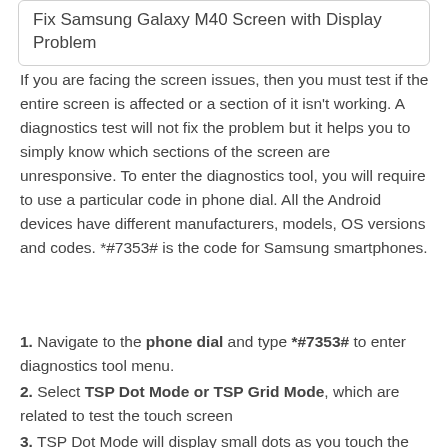Fix Samsung Galaxy M40 Screen with Display Problem
If you are facing the screen issues, then you must test if the entire screen is affected or a section of it isn't working. A diagnostics test will not fix the problem but it helps you to simply know which sections of the screen are unresponsive. To enter the diagnostics tool, you will require to use a particular code in phone dial. All the Android devices have different manufacturers, models, OS versions and codes. *#7353# is the code for Samsung smartphones.
1. Navigate to the phone dial and type *#7353# to enter diagnostics tool menu.
2. Select TSP Dot Mode or TSP Grid Mode, which are related to test the touch screen
3. TSP Dot Mode will display small dots as you touch the screen while TSP Grid Mode enables you to examine each